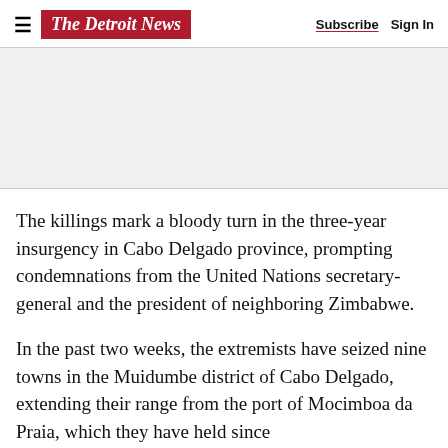The Detroit News — Subscribe  Sign In
[Figure (other): Advertisement placeholder area (gray background)]
The killings mark a bloody turn in the three-year insurgency in Cabo Delgado province, prompting condemnations from the United Nations secretary-general and the president of neighboring Zimbabwe.
In the past two weeks, the extremists have seized nine towns in the Muidumbe district of Cabo Delgado, extending their range from the port of Mocimboa da Praia, which they have held since